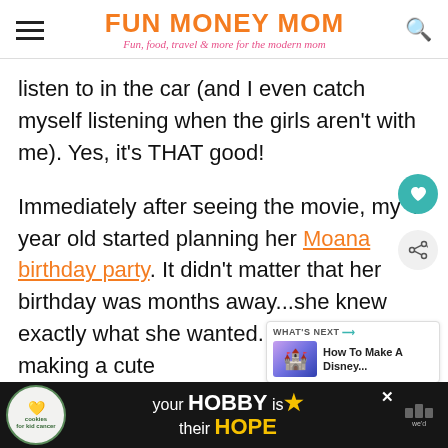FUN MONEY MOM — Fun, food, travel & more for the modern mom
listen to in the car (and I even catch myself listening when the girls aren't with me). Yes, it's THAT good!
Immediately after seeing the movie, my 4 year old started planning her Moana birthday party. It didn't matter that her birthday was months away...she knew exactly what she wanted. I started by making a cute
[Figure (screenshot): What's Next box showing 'How To Make A Disney...' with thumbnail]
[Figure (photo): Ad banner: cookies for kid cancer - your HOBBY is their HOPE]